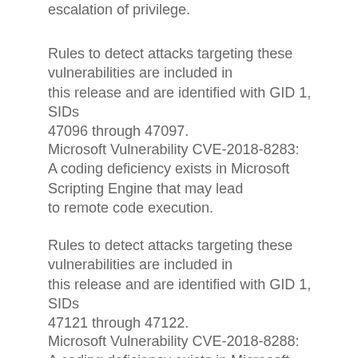escalation of privilege.
Rules to detect attacks targeting these vulnerabilities are included in this release and are identified with GID 1, SIDs 47096 through 47097.
Microsoft Vulnerability CVE-2018-8283: A coding deficiency exists in Microsoft Scripting Engine that may lead to remote code execution.
Rules to detect attacks targeting these vulnerabilities are included in this release and are identified with GID 1, SIDs 47121 through 47122.
Microsoft Vulnerability CVE-2018-8288: A coding deficiency exists in Microsoft Scripting Engine that may lead to remote code execution.